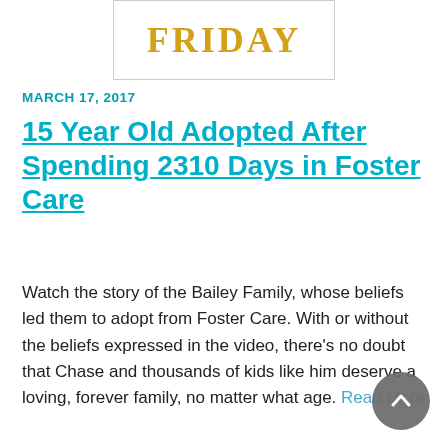[Figure (illustration): Box with 'FRIDAY' text in gold/yellow serif font, bordered in light gray]
MARCH 17, 2017
15 Year Old Adopted After Spending 2310 Days in Foster Care
Watch the story of the Bailey Family, whose beliefs led them to adopt from Foster Care. With or without the beliefs expressed in the video, there's no doubt that Chase and thousands of kids like him deserve a loving, forever family, no matter what age. Read More